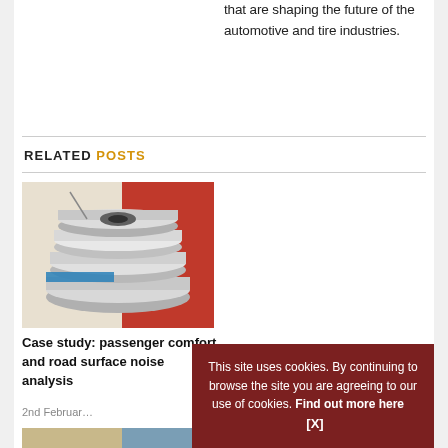technologies and innovations that are shaping the future of the automotive and tire industries.
RELATED POSTS
[Figure (photo): Stacked metal wheel rims/hubs photographed up close with colorful background]
Case study: passenger comfort and road surface noise analysis
2nd Februar…
[Figure (photo): Partial image of a second related post]
This site uses cookies. By continuing to browse the site you are agreeing to our use of cookies. Find out more here [X]